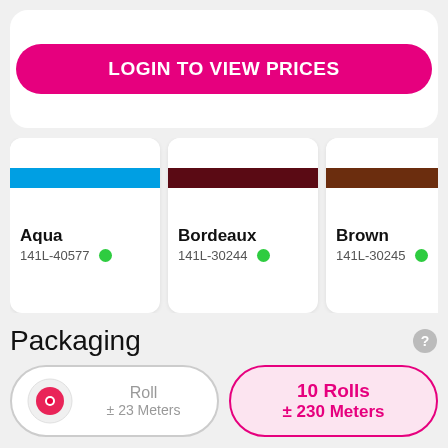LOGIN TO VIEW PRICES
[Figure (illustration): Color swatch cards showing ribbon/tape color options: Aqua (141L-40577), Bordeaux (141L-30244), Brown (141L-30245), Dark Blue (141L-30253, partially visible). Each card shows a colored band and a green availability dot.]
Packaging
Roll ± 23 Meters
10 Rolls ± 230 Meters